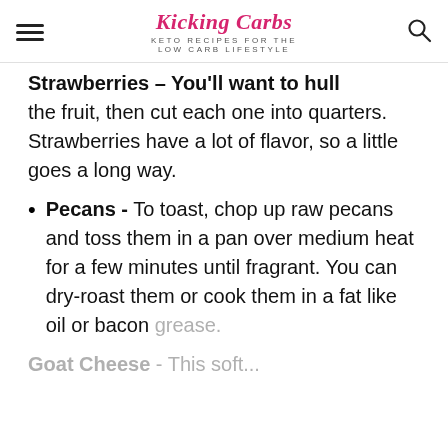Kicking Carbs — KETO RECIPES FOR THE LOW CARB LIFESTYLE
Strawberries - You'll want to hull the fruit, then cut each one into quarters. Strawberries have a lot of flavor, so a little goes a long way.
Pecans - To toast, chop up raw pecans and toss them in a pan over medium heat for a few minutes until fragrant. You can dry-roast them or cook them in a fat like oil or bacon grease.
Goat Cheese - This soft...